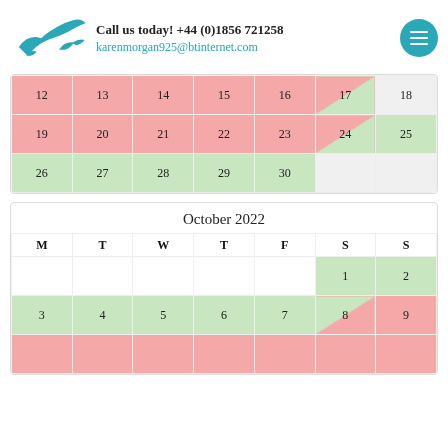Call us today! +44 (0)1856 721258
karenmorgan925@btinternet.com
| M | T | W | T | F | S | S |
| --- | --- | --- | --- | --- | --- | --- |
| 12 | 13 | 14 | 15 | 16 | 17/split | 18 |
| 19 | 20 | 21 | 22 | 23 | 24/split | 25 |
| 26 | 27 | 28 | 29 | 30 |  |  |
October 2022
| M | T | W | T | F | S | S |
| --- | --- | --- | --- | --- | --- | --- |
|  |  |  |  |  | 1 | 2 |
| 3 | 4 | 5 | 6 | 7 | 8/split | 9 |
| (more) |  |  |  |  |  |  |